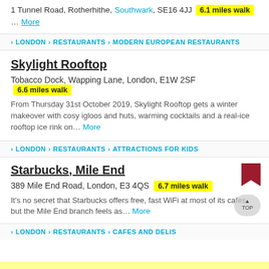1 Tunnel Road, Rotherhithe, Southwark, SE16 4JJ  6.1 miles walk
... More
LONDON > RESTAURANTS > MODERN EUROPEAN RESTAURANTS
Skylight Rooftop
Tobacco Dock, Wapping Lane, London, E1W 2SF  6.6 miles walk
From Thursday 31st October 2019, Skylight Rooftop gets a winter makeover with cosy igloos and huts, warming cocktails and a real-ice rooftop ice rink on... More
LONDON > RESTAURANTS > ATTRACTIONS FOR KIDS
Starbucks, Mile End
389 Mile End Road, London, E3 4QS  6.7 miles walk
It's no secret that Starbucks offers free, fast WiFi at most of its cafes but the Mile End branch feels as... More
LONDON > RESTAURANTS > CAFES AND DELIS